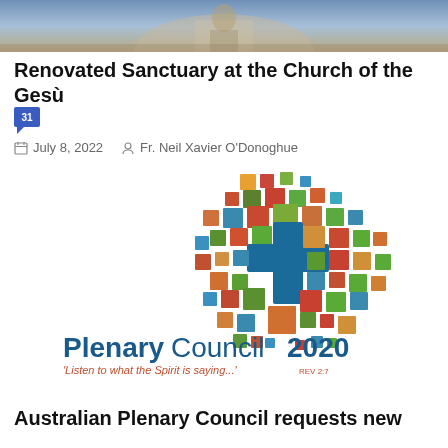[Figure (photo): Top portion of a church interior or facade image, cropped at the top of the page]
Renovated Sanctuary at the Church of the Gesù
[Figure (other): Blue comment/chat badge with the number 31]
July 8, 2022   Fr. Neil Xavier O'Donoghue
[Figure (logo): Plenary Council 2020 logo with colorful squares arranged in the shape of Australia, a blue cross in the center, and text 'Listen to what the Spirit is saying...' REV 2:7]
Australian Plenary Council requests new